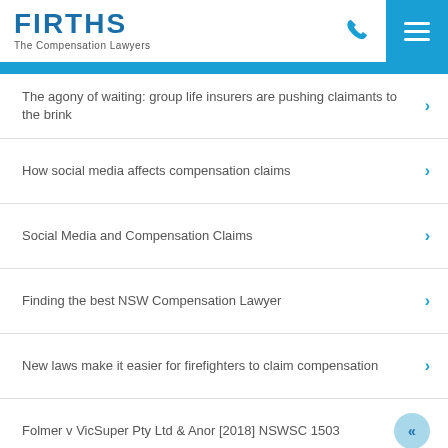FIRTHS The Compensation Lawyers
The agony of waiting: group life insurers are pushing claimants to the brink
How social media affects compensation claims
Social Media and Compensation Claims
Finding the best NSW Compensation Lawyer
New laws make it easier for firefighters to claim compensation
Folmer v VicSuper Pty Ltd & Anor [2018] NSWSC 1503